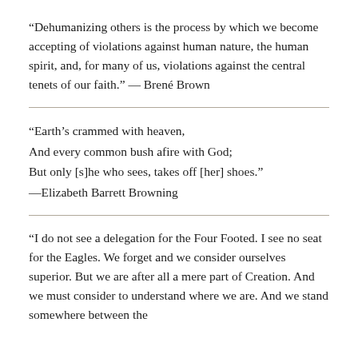“Dehumanizing others is the process by which we become accepting of violations against human nature, the human spirit, and, for many of us, violations against the central tenets of our faith.” — Brené Brown
“Earth’s crammed with heaven,
And every common bush afire with God;
But only [s]he who sees, takes off [her] shoes.”
—Elizabeth Barrett Browning
“I do not see a delegation for the Four Footed. I see no seat for the Eagles. We forget and we consider ourselves superior. But we are after all a mere part of Creation. And we must consider to understand where we are. And we stand somewhere between the mountains and the Ants. Somewhere and there only as part and parcel of the Creation.”